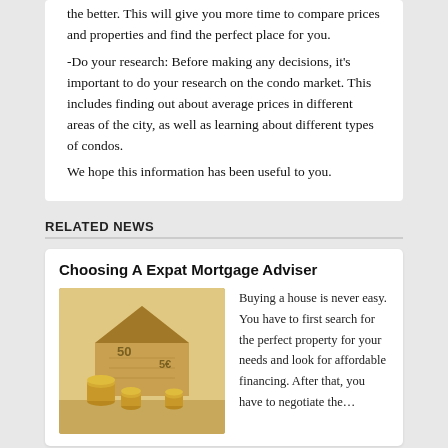the better. This will give you more time to compare prices and properties and find the perfect place for you.
-Do your research: Before making any decisions, it's important to do your research on the condo market. This includes finding out about average prices in different areas of the city, as well as learning about different types of condos.
We hope this information has been useful to you.
RELATED NEWS
Choosing A Expat Mortgage Adviser
[Figure (photo): Photo of a house made from Euro banknotes with stacked coins in front on a light background]
Buying a house is never easy. You have to first search for the perfect property for your needs and look for affordable financing. After that, you have to negotiate the…
Choosing A Guaranteed Home Purchase…